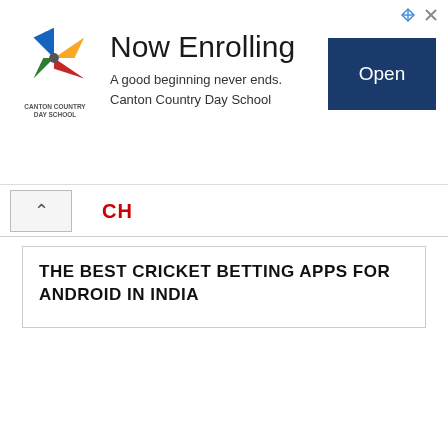[Figure (infographic): Advertisement banner for Canton Country Day School. Features a colorful pinwheel logo on the left, 'Now Enrolling' headline with tagline 'A good beginning never ends. Canton Country Day School', and a dark blue 'Open' button on the right. Small corner icons at top right.]
CH
THE BEST CRICKET BETTING APPS FOR ANDROID IN INDIA